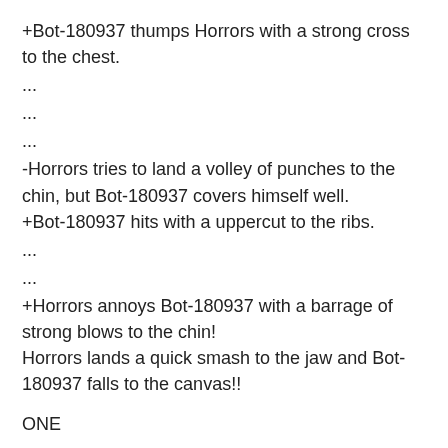+Bot-180937 thumps Horrors with a strong cross to the chest.
...
...
...
-Horrors tries to land a volley of punches to the chin, but Bot-180937 covers himself well.
+Bot-180937 hits with a uppercut to the ribs.
...
...
+Horrors annoys Bot-180937 with a barrage of strong blows to the chin!
Horrors lands a quick smash to the jaw and Bot-180937 falls to the canvas!!
ONE
TWO